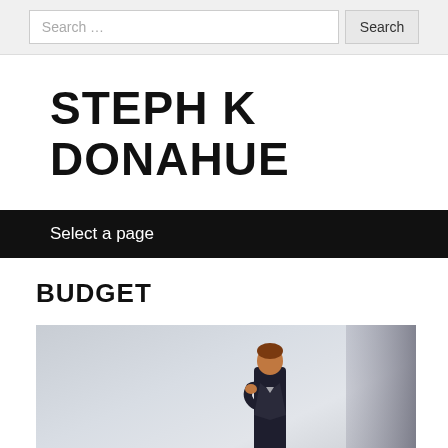Search …  Search
STEPH K DONAHUE
Select a page
BUDGET
[Figure (photo): A miniature figurine of a businessman in a suit standing on what appears to be a book or publication with text reading TAX · BUSINESS · CURRENCY CURRE... visible on the cover, shot with shallow depth of field on a light grey background.]